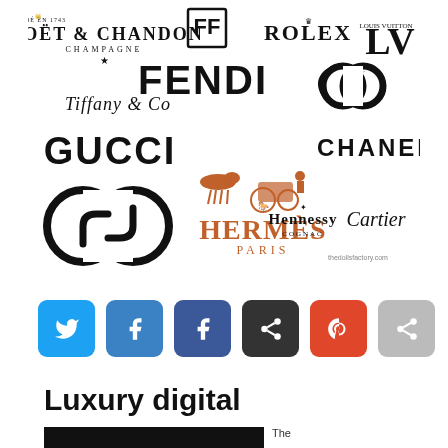[Figure (logo): Collage of luxury brand logos: Moët & Chandon Champagne, Fendi, Rolex, Louis Vuitton, Tiffany & Co, Gucci, Hermès Paris, Chanel, Hennessy Cognac, Cartier. Watermark: thedollsfactory.com]
[Figure (other): Row of 6 social sharing buttons: Twitter (light blue), Facebook (blue), Facebook dark (dark blue), Share (black), Pinterest/red, grey share button]
Luxury digital
[Figure (photo): Dark/black image beginning to load at bottom of page, with partial text 'The' visible to the right]